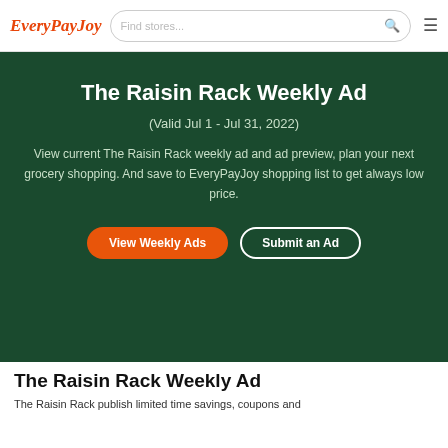EveryPayJoy — Find stores...
The Raisin Rack Weekly Ad
(Valid Jul 1 - Jul 31, 2022)
View current The Raisin Rack weekly ad and ad preview, plan your next grocery shopping. And save to EveryPayJoy shopping list to get always low price.
View Weekly Ads | Submit an Ad
The Raisin Rack Weekly Ad
The Raisin Rack publish limited time savings, coupons and